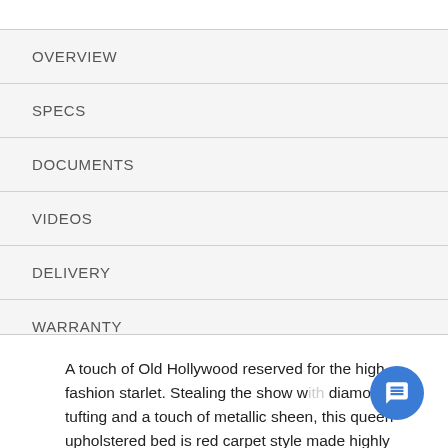OVERVIEW
SPECS
DOCUMENTS
VIDEOS
DELIVERY
WARRANTY
A touch of Old Hollywood reserved for the high-fashion starlet. Stealing the show with diamond tufting and a touch of metallic sheen, this queen upholstered bed is red carpet style made highly affordable.